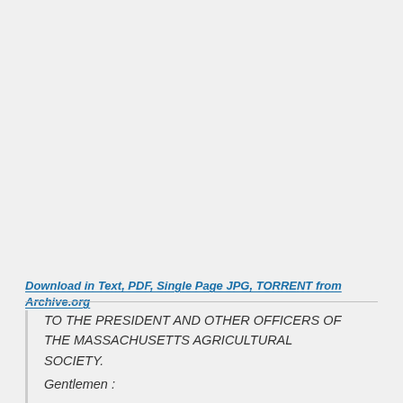Download in Text, PDF, Single Page JPG, TORRENT from Archive.org
TO THE PRESIDENT AND OTHER OFFICERS OF THE MASSACHUSETTS AGRICULTURAL SOCIETY.
Gentlemen :

Presuming upon your acquiesence, I introduce